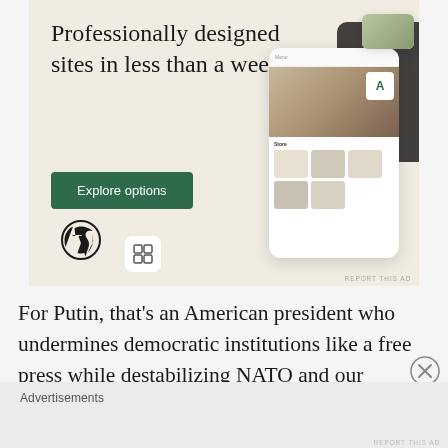[Figure (illustration): WordPress advertisement banner with beige/cream background showing text 'Professionally designed sites in less than a week', a green 'Explore options' button, WordPress logo, and mockup screenshots of website designs on the right side.]
For Putin, that’s an American president who undermines democratic institutions like a free press while destabilizing NATO and our alliances in addition to spilling classified information to Russian spies in the Oval Office. Now,
Advertisements